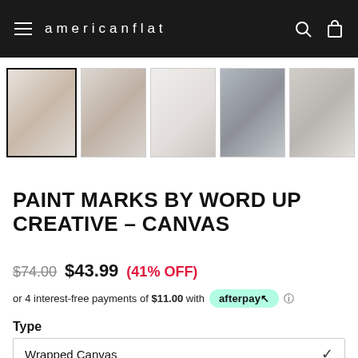americanflat
[Figure (screenshot): Row of six product thumbnail images showing canvas art in various room settings, with the first thumbnail selected (highlighted border). A right arrow navigation button is visible at the end.]
PAINT MARKS BY WORD UP CREATIVE – CANVAS
$74.00  $43.99  (41% OFF)
or 4 interest-free payments of $11.00 with afterpay
Type
Wrapped Canvas